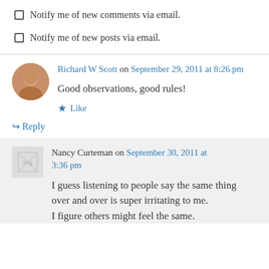Notify me of new comments via email.
Notify me of new posts via email.
Richard W Scott on September 29, 2011 at 8:26 pm
Good observations, good rules!
Like
Reply
Nancy Curteman on September 30, 2011 at 3:36 pm
I guess listening to people say the same thing over and over is super irritating to me. I figure others might feel the same.